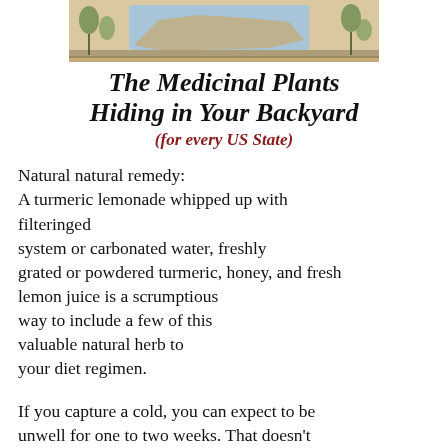[Figure (illustration): A decorative banner image showing a map of the United States with illustrated medicinal plants around the border, in a vintage educational poster style.]
The Medicinal Plants Hiding in Your Backyard (for every US State)
Natural natural remedy:
A turmeric lemonade whipped up with filteringed
system or carbonated water, freshly grated or powdered turmeric, honey, and fresh lemon juice is a scrumptious
way to include a few of this valuable natural herb to
your diet regimen.
If you capture a cold, you can expect to be unwell for one to two weeks. That doesn't suggest you have to be